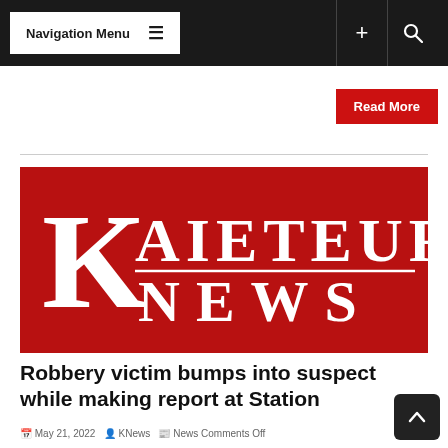Navigation Menu
Read More
[Figure (logo): Kaieteur News logo — white serif text 'K AIETEUR NEWS' on a red background]
Robbery victim bumps into suspect while making report at Station
May 21, 2022  KNews  News Comments Off